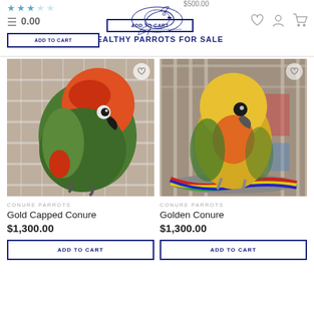HEALTHY PARROTS FOR SALE
[Figure (photo): Gold Capped Conure parrot perched on cage bars, green and red-orange plumage]
CONURE PARROTS
Gold Capped Conure
$1,300.00
ADD TO CART
[Figure (photo): Golden Conure parrot perched on colorful rope toy inside cage, yellow and orange plumage]
CONURE PARROTS
Golden Conure
$1,300.00
ADD TO CART